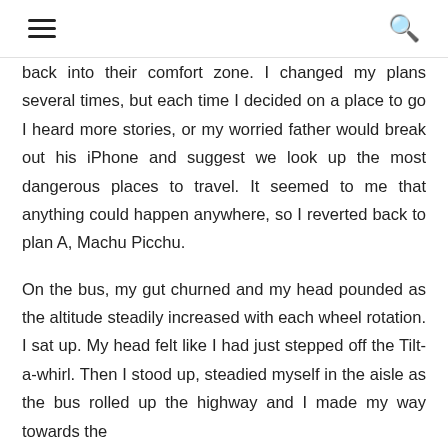≡  🔍
back into their comfort zone. I changed my plans several times, but each time I decided on a place to go I heard more stories, or my worried father would break out his iPhone and suggest we look up the most dangerous places to travel. It seemed to me that anything could happen anywhere, so I reverted back to plan A, Machu Picchu.

On the bus, my gut churned and my head pounded as the altitude steadily increased with each wheel rotation. I sat up. My head felt like I had just stepped off the Tilt-a-whirl. Then I stood up, steadied myself in the aisle as the bus rolled up the highway and I made my way towards the